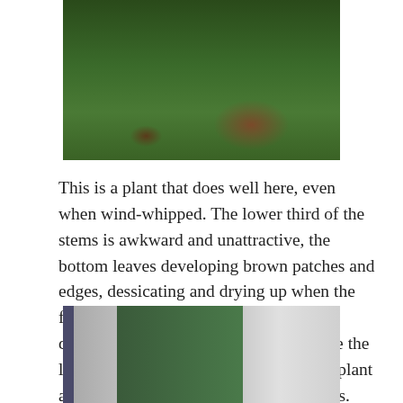[Figure (photo): Photograph of grass and plants outdoors, showing green grass with brownish dried plant material]
This is a plant that does well here, even when wind-whipped. The lower third of the stems is awkward and unattractive, the bottom leaves developing brown patches and edges, dessicating and drying up when the flowers begin opening. This action is described as senescence, and in this case the lowest stem leaves are sacrificed as the plant allocates more energy into its floral parts. This is a common occurance in many plants, especially lilies and New England asters (Aster Symphyotrichum novae-angliae). My S. n-a. ‘Andenken Alma Potschke’ tries me yearly.
[Figure (photo): Photograph showing columns or pillars of a building with trees and sky in background]